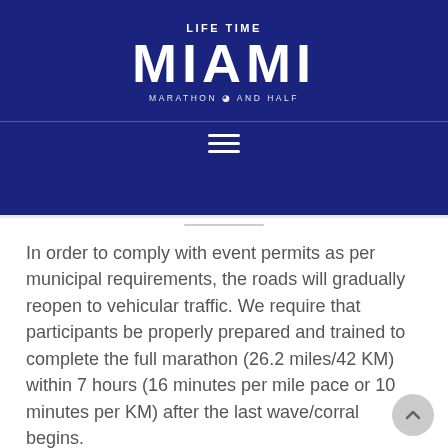[Figure (logo): Life Time Miami Marathon and Half logo on dark navy blue background with hamburger menu icon below]
In order to comply with event permits as per municipal requirements, the roads will gradually reopen to vehicular traffic. We require that participants be properly prepared and trained to complete the full marathon (26.2 miles/42 KM) within 7 hours (16 minutes per mile pace or 10 minutes per KM) after the last wave/corral begins.
Checkpoint
Marathon participants must reach the 12.8-mile mark within 3.5 hours in order to be allowed to continue, at which point participants will be